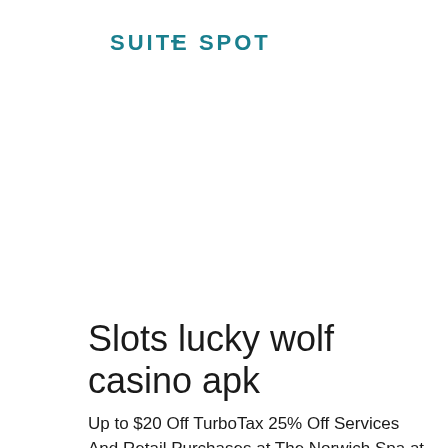[Figure (logo): Suite Spot logo — stylized teal/dark-cyan uppercase text reading 'SUITE SPOT' with geometric letterforms]
Slots lucky wolf casino apk
Up to $20 Off TurboTax 25% Off Services And Retail Purchases at The Norwich Spa at Foxwoods. Get 20% Off Up to Four Tickets To The May 24 - 26 Showing of Menopause